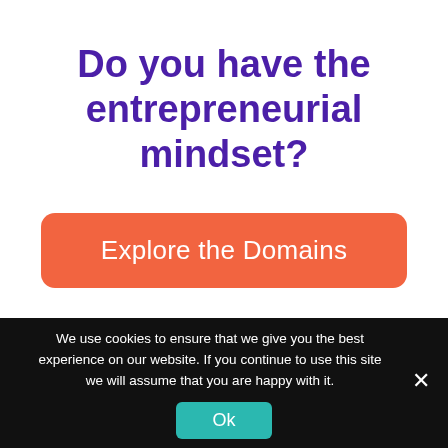Do you have the entrepreneurial mindset?
Explore the Domains
We use cookies to ensure that we give you the best experience on our website. If you continue to use this site we will assume that you are happy with it.
Ok